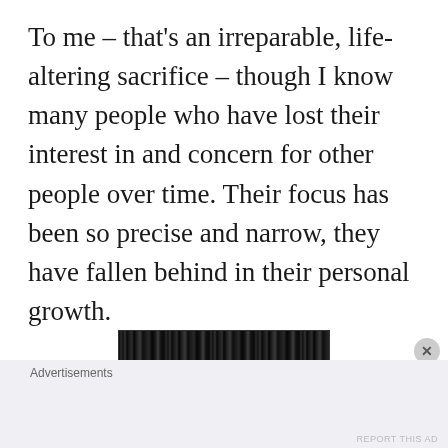To me – that's an irreparable, life-altering sacrifice – though I know many people who have lost their interest in and concern for other people over time. Their focus has been so precise and narrow, they have fallen behind in their personal growth.
[Figure (photo): Dark, high-contrast black and white image resembling vertical streaks or a shadowed photograph]
Advertisements